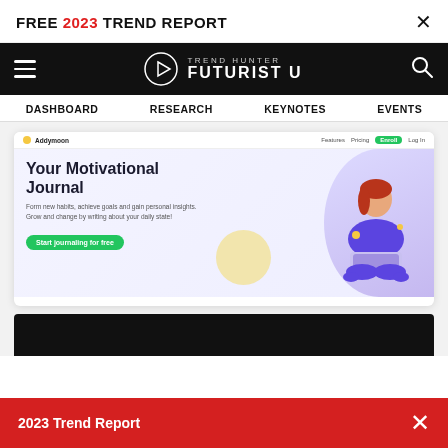FREE 2023 TREND REPORT ×
[Figure (screenshot): Trend Hunter Futurist U navigation bar with hamburger menu, logo, and search icon on black background]
DASHBOARD   RESEARCH   KEYNOTES   EVENTS
[Figure (screenshot): Addymoon app screenshot showing 'Your Motivational Journal' landing page with illustration of person sitting cross-legged with laptop, green CTA button 'Start journaling for free']
[Figure (screenshot): Dark/black content block partially visible at bottom]
2023 Trend Report ×